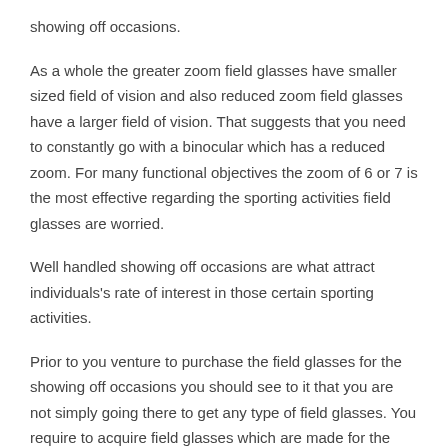showing off occasions.
As a whole the greater zoom field glasses have smaller sized field of vision and also reduced zoom field glasses have a larger field of vision. That suggests that you need to constantly go with a binocular which has a reduced zoom. For many functional objectives the zoom of 6 or 7 is the most effective regarding the sporting activities field glasses are worried.
Well handled showing off occasions are what attract individuals's rate of interest in those certain sporting activities.
Prior to you venture to purchase the field glasses for the showing off occasions you should see to it that you are not simply going there to get any type of field glasses. You require to acquire field glasses which are made for the sporting activities follower like you. These unique field glasses are called the large angle field glasses.